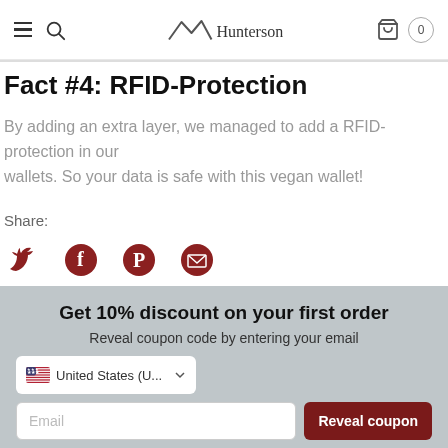Hunterson — navigation bar with hamburger menu, search icon, logo, and cart with 0 items
Fact #4: RFID-Protection
By adding an extra layer, we managed to add a RFID-protection in our wallets. So your data is safe with this vegan wallet!
Share:
[Figure (infographic): Social share icons: Twitter, Facebook, Pinterest, Email]
Get 10% discount on your first order
Reveal coupon code by entering your email
United States (U...)
Email
Reveal coupon